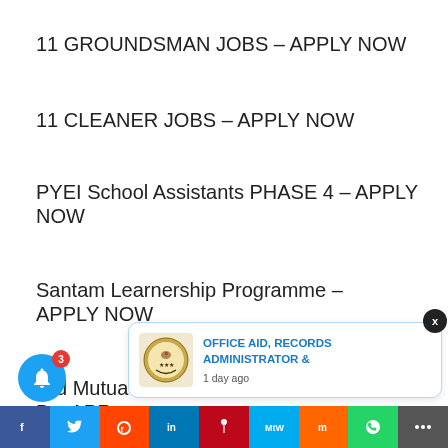11 GROUNDSMAN JOBS – APPLY NOW
11 CLEANER JOBS – APPLY NOW
PYEI School Assistants PHASE 4 – APPLY NOW
Santam Learnership Programme – APPLY NOW
Old Mutual… B – APR…
[Figure (screenshot): Notification popup showing 'OFFICE AID, RECORDS ADMINISTRATOR &' with SA government coat of arms logo, timestamp '1 day ago', and a close button X]
[Figure (screenshot): Social sharing bar at bottom with Facebook, Twitter, Reddit, LinkedIn, Pinterest, MeWe, Mix, WhatsApp, and share buttons]